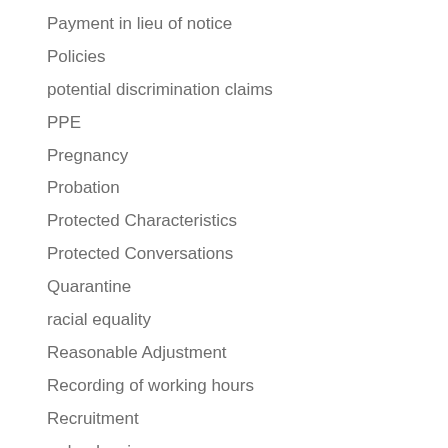Payment in lieu of notice
Policies
potential discrimination claims
PPE
Pregnancy
Probation
Protected Characteristics
Protected Conversations
Quarantine
racial equality
Reasonable Adjustment
Recording of working hours
Recruitment
redundancies
redundancy